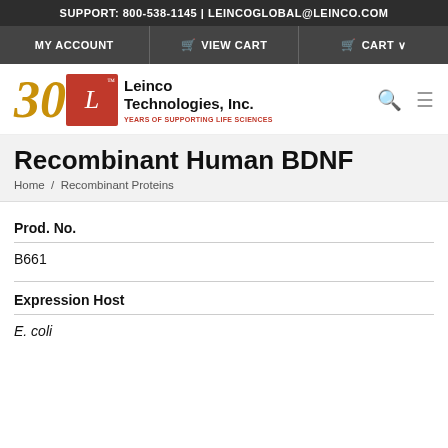SUPPORT: 800-538-1145 | LEINCOGLOBAL@LEINCO.COM
MY ACCOUNT | VIEW CART | CART
[Figure (logo): Leinco Technologies, Inc. 30 years logo with red badge L and gold 30 numeral, tagline YEARS OF SUPPORTING LIFE SCIENCES]
Recombinant Human BDNF
Home / Recombinant Proteins
Prod. No.
B661
Expression Host
E. coli